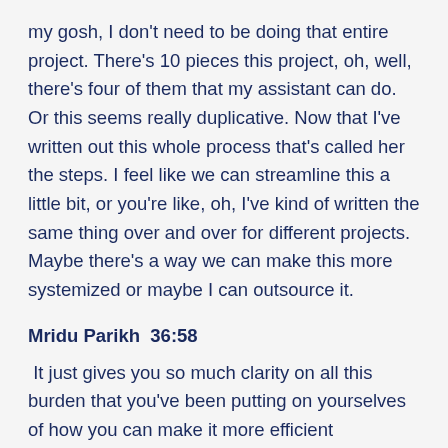my gosh, I don't need to be doing that entire project. There's 10 pieces this project, oh, well, there's four of them that my assistant can do. Or this seems really duplicative. Now that I've written out this whole process that's called her the steps. I feel like we can streamline this a little bit, or you're like, oh, I've kind of written the same thing over and over for different projects. Maybe there's a way we can make this more systemized or maybe I can outsource it.
Mridu Parikh  36:58
It just gives you so much clarity on all this burden that you've been putting on yourselves of how you can make it more efficient outsources, systemize it even just stuff with like my kids, like, for some reason I do. By the way, I know I've been giving examples that are